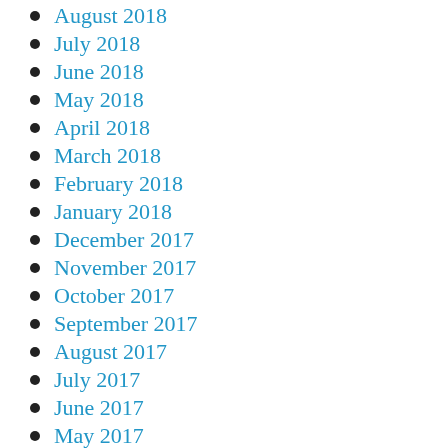August 2018
July 2018
June 2018
May 2018
April 2018
March 2018
February 2018
January 2018
December 2017
November 2017
October 2017
September 2017
August 2017
July 2017
June 2017
May 2017
April 2017